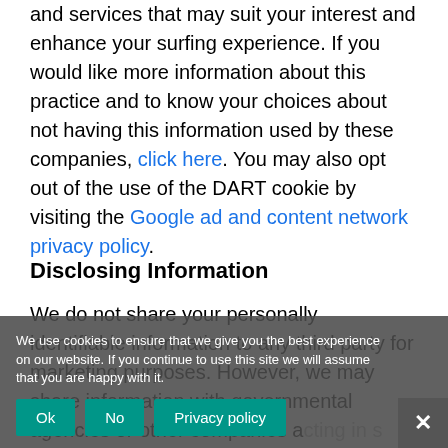and services that may suit your interest and enhance your surfing experience. If you would like more information about this practice and to know your choices about not having this information used by these companies, click here. You may also opt out of the use of the DART cookie by visiting the Google ad and content network privacy policy.
Disclosing Information
We do not share your personally identifiable information to any third party for marketing purposes. However, we may share information with governmental agencies or other companies acting in s prevention or investigation. We may do so when: (1)
We use cookies to ensure that we give you the best experience on our website. If you continue to use this site we will assume that you are happy with it.